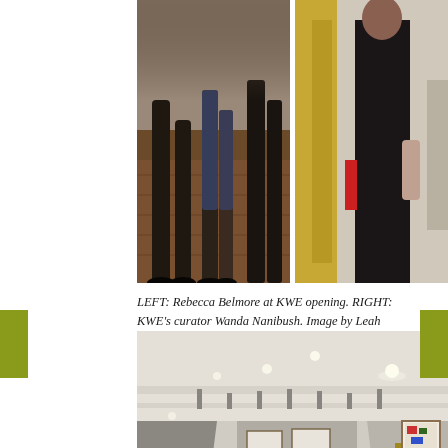[Figure (photo): Two photos side by side: LEFT shows people's legs and feet on a dark wood floor at an art gallery opening; RIGHT shows a woman in a black dress standing near a yellow/wood display structure in a gallery setting.]
LEFT: Rebecca Belmore at KWE opening. RIGHT: KWE's curator Wanda Nanibush. Image by Leah Snyder for Mixed Bag Mag.
[Figure (photo): Interior of an art gallery showing a long corridor with white walls, track lighting on the ceiling, and framed artworks hanging on the walls.]